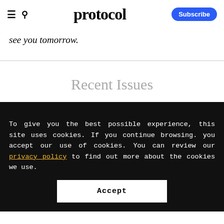protocol  Subscribe
see you tomorrow.
Recent Issues
To give you the best possible experience, this site uses cookies. If you continue browsing. you accept our use of cookies. You can review our privacy policy to find out more about the cookies we use.
Accept